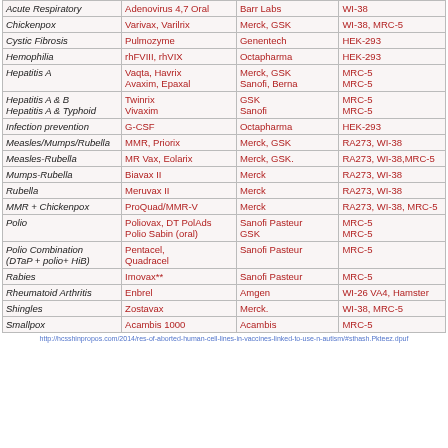| Disease | Vaccine/Drug | Manufacturer | Cell Line |
| --- | --- | --- | --- |
| Acute Respiratory | Adenovirus 4,7 Oral | Barr Labs | WI-38 |
| Chickenpox | Varivax, Varilrix | Merck, GSK | WI-38, MRC-5 |
| Cystic Fibrosis | Pulmozyme | Genentech | HEK-293 |
| Hemophilia | rhFVIII, rhVIX | Octapharma | HEK-293 |
| Hepatitis A | Vaqta, Havrix
Avaxim, Epaxal | Merck, GSK
Sanofi, Berna | MRC-5
MRC-5 |
| Hepatitis A & B
Hepatitis A & Typhoid | Twinrix
Vivaxim | GSK
Sanofi | MRC-5
MRC-5 |
| Infection prevention | G-CSF | Octapharma | HEK-293 |
| Measles/Mumps/Rubella | MMR, Priorix | Merck, GSK | RA273, WI-38 |
| Measles-Rubella | MR Vax, Eolarix | Merck, GSK. | RA273, WI-38,MRC-5 |
| Mumps-Rubella | Biavax II | Merck | RA273, WI-38 |
| Rubella | Meruvax II | Merck | RA273, WI-38 |
| MMR + Chickenpox | ProQuad/MMR-V | Merck | RA273, WI-38, MRC-5 |
| Polio | Poliovax, DT PolAds
Polio Sabin (oral) | Sanofi Pasteur
GSK | MRC-5
MRC-5 |
| Polio Combination
(DTaP + polio+ HiB) | Pentacel,
Quadracel | Sanofi Pasteur | MRC-5 |
| Rabies | Imovax** | Sanofi Pasteur | MRC-5 |
| Rheumatoid Arthritis | Enbrel | Amgen | WI-26 VA4, Hamster |
| Shingles | Zostavax | Merck. | WI-38, MRC-5 |
| Smallpox | Acambis 1000 | Acambis | MRC-5 |
http://hcsshinpropos.com/2014/res-of-aborted-human-cell-lines-in-vaccines-linked-to-use-n-autism/#sthash.Pkteez.dpuf